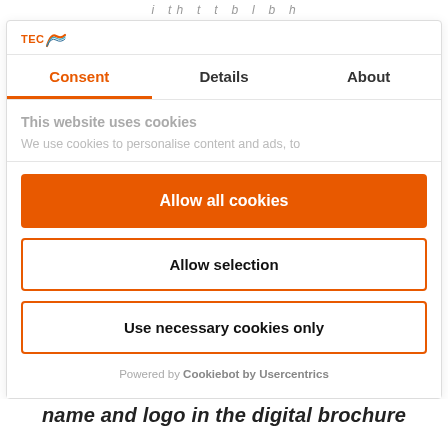i  t h  t  t  b  l  b  h
[Figure (logo): TEC logo with rainbow arc]
Consent | Details | About
This website uses cookies
We use cookies to personalise content and ads, to
Allow all cookies
Allow selection
Use necessary cookies only
Powered by Cookiebot by Usercentrics
name and logo in the digital brochure